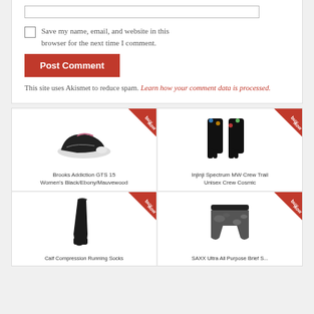[input field]
Save my name, email, and website in this browser for the next time I comment.
Post Comment
This site uses Akismet to reduce spam. Learn how your comment data is processed.
[Figure (photo): Brooks Addiction GTS 15 Women's Black/Ebony/Mauvewood running shoe with buy now badge]
Brooks Addiction GTS 15 Women's Black/Ebony/Mauvewood
[Figure (photo): Injinji Spectrum MW Crew Trail Unisex Crew Cosmic toe socks with buy now badge]
Injinji Spectrum MW Crew Trail Unisex Crew Cosmic
[Figure (photo): Black calf compression running socks with buy now badge]
Calf Compression Running Socks
[Figure (photo): SAXX grey camo all purpose boxer brief shorts with buy now badge]
SAXX Ultra All Purpose Brief S...